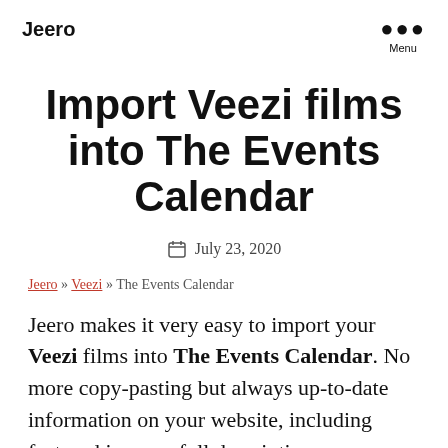Jeero
Import Veezi films into The Events Calendar
July 23, 2020
Jeero » Veezi » The Events Calendar
Jeero makes it very easy to import your Veezi films into The Events Calendar. No more copy-pasting but always up-to-date information on your website, including featured images, full descriptions,